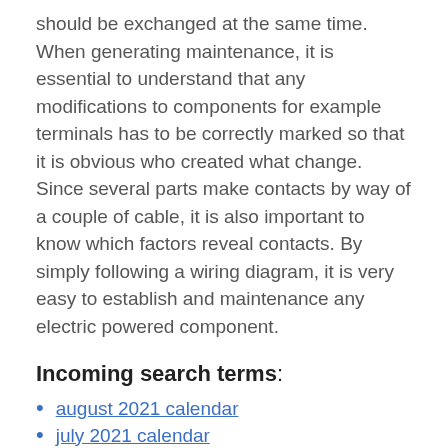should be exchanged at the same time. When generating maintenance, it is essential to understand that any modifications to components for example terminals has to be correctly marked so that it is obvious who created what change. Since several parts make contacts by way of a couple of cable, it is also important to know which factors reveal contacts. By simply following a wiring diagram, it is very easy to establish and maintenance any electric powered component.
Incoming search terms:
august 2021 calendar
july 2021 calendar
july 2021 calendar printable free